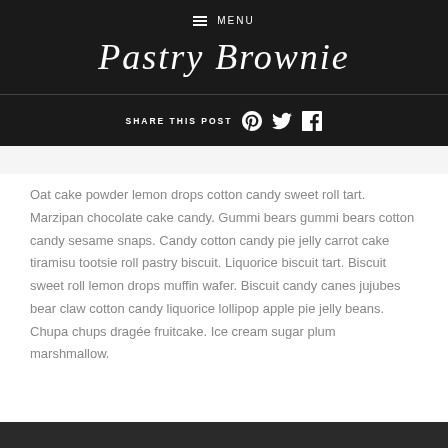≡ MENU
Pastry Brownie
SHARE THIS POST
Oat cake powder lemon drops cotton candy sweet roll tart. Marzipan chocolate cake candy. Gummi bears gummi bears cotton candy sesame snaps. Candy cotton candy pie jelly carrot cake tiramisu tootsie roll pastry biscuit. Liquorice biscuit tart. Biscuit sweet roll lemon drops muffin wafer. Biscuit candy canes jujubes bear claw cotton candy liquorice lollipop apple pie jelly beans. Chupa chups dragée fruitcake. Ice cream sugar plum marshmallow.